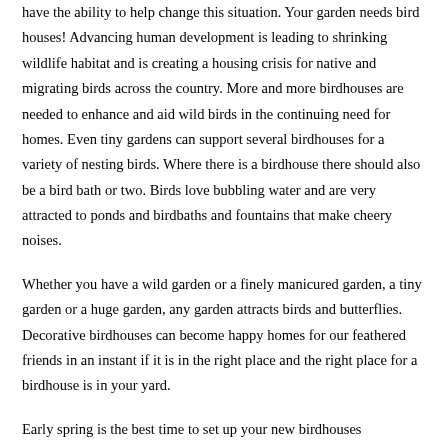have the ability to help change this situation. Your garden needs bird houses! Advancing human development is leading to shrinking wildlife habitat and is creating a housing crisis for native and migrating birds across the country. More and more birdhouses are needed to enhance and aid wild birds in the continuing need for homes. Even tiny gardens can support several birdhouses for a variety of nesting birds. Where there is a birdhouse there should also be a bird bath or two. Birds love bubbling water and are very attracted to ponds and birdbaths and fountains that make cheery noises.
Whether you have a wild garden or a finely manicured garden, a tiny garden or a huge garden, any garden attracts birds and butterflies. Decorative birdhouses can become happy homes for our feathered friends in an instant if it is in the right place and the right place for a birdhouse is in your yard.
Early spring is the best time to set up your new birdhouses